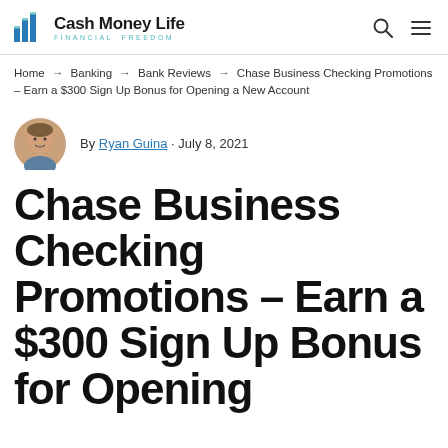Cash Money Life | FINANCIAL FREEDOM
Home → Banking → Bank Reviews → Chase Business Checking Promotions – Earn a $300 Sign Up Bonus for Opening a New Account
By Ryan Guina · July 8, 2021
Chase Business Checking Promotions – Earn a $300 Sign Up Bonus for Opening